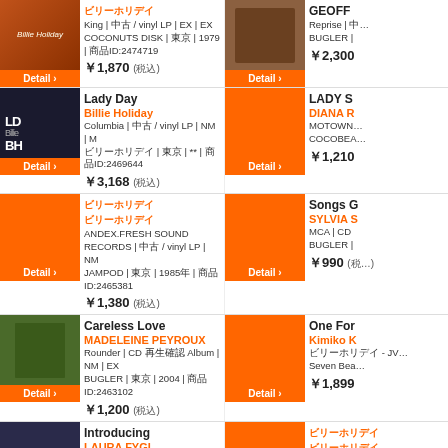ビリーホリデイ / King | 中古 / vinyl LP | EX | EX COCONUTS DISK | 東京 | 1979 | 商品ID:2474719 ¥1,870 (税込)
GEOFF ... / Reprise | ... BUGLER | ... ¥2,300
Lady Day - Billie Holiday / Columbia | 中古 / vinyl LP | NM | M ビリーホリデイ | 東京 | ** | 商品ID:2469644 ¥3,168 (税込)
LADY S... - DIANA R... / MOTOWN... COCOBEA... ¥1,210
ビリーホリデイ... / ANDEX.FRESH SOUND RECORDS | 中古 / vinyl LP | NM JAMPOD | 東京 | 1985年 | 商品ID:2465381 ¥1,380 (税込)
Songs G... - SYLVIA S... / MCA | CD BUGLER | ... ¥990 (税...)
Careless Love - MADELEINE PEYROUX / Rounder | CD 再生確認 Album | NM | EX BUGLER | 東京 | 2004 | 商品ID:2463102 ¥1,200 (税込)
One For... - Kimiko K... / ビリーホリデイ - JV... Seven Bea... ¥1,899
Introducing - LAURA FYGI / Mercury | CD 再生確認 Album | NM | NM BUGLER | 東京 | 1991 | 商品ID:2461226
ビリーホリデイ... / ビリーホリデイ... VIK,BMG... JAMPOD |...